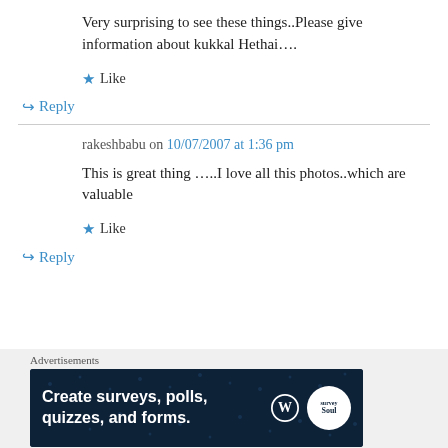Very surprising to see these things..Please give information about kukkal Hethai....
★ Like
↪ Reply
rakeshbabu on 10/07/2007 at 1:36 pm
This is great thing …..I love all this photos..which are valuable
★ Like
↪ Reply
Advertisements
[Figure (other): Advertisement banner: Create surveys, polls, quizzes, and forms. Dark blue background with WordPress logo and SurveyMonkey badge.]